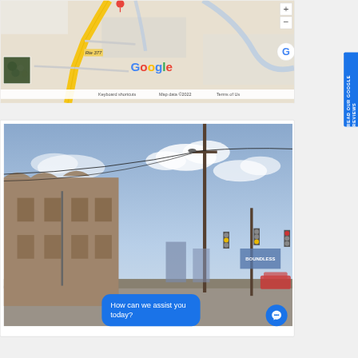[Figure (map): Google Maps screenshot showing a road map with Route 377, yellow road, blue outline roads on light gray background. Map controls (+/-) on right side. Google logo in center. Satellite thumbnail in lower left. Map data ©2022 attribution at bottom.]
Keyboard shortcuts    Map data ©2022    Terms of Us
[Figure (photo): Street view photo of an old stone building with arched details along a road, utility poles with power lines, traffic lights in the background, partly cloudy sky.]
How can we assist you today?
[Figure (other): Blue circular chat icon button in bottom right corner]
READ OUR GOOGLE REVIEWS